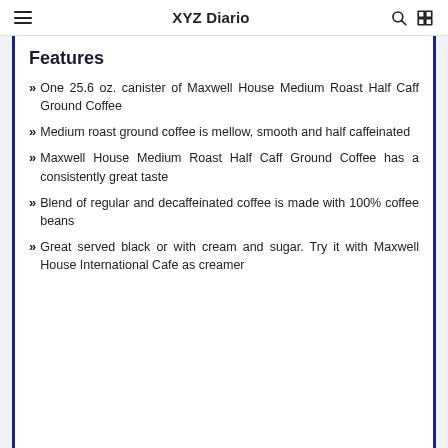XYZ Diario
Features
One 25.6 oz. canister of Maxwell House Medium Roast Half Caff Ground Coffee
Medium roast ground coffee is mellow, smooth and half caffeinated
Maxwell House Medium Roast Half Caff Ground Coffee has a consistently great taste
Blend of regular and decaffeinated coffee is made with 100% coffee beans
Great served black or with cream and sugar. Try it with Maxwell House International Cafe as creamer